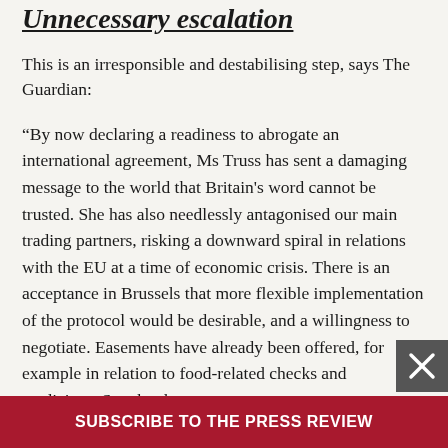Unnecessary escalation
This is an irresponsible and destabilising step, says The Guardian:
“By now declaring a readiness to abrogate an international agreement, Ms Truss has sent a damaging message to the world that Britain's word cannot be trusted. She has also needlessly antagonised our main trading partners, risking a downward spiral in relations with the EU at a time of economic crisis. There is an acceptance in Brussels that more flexible implementation of the protocol would be desirable, and a willingness to negotiate. Easements have already been offered, for example in relation to food-related checks and medicines. So why the
SUBSCRIBE TO THE PRESS REVIEW